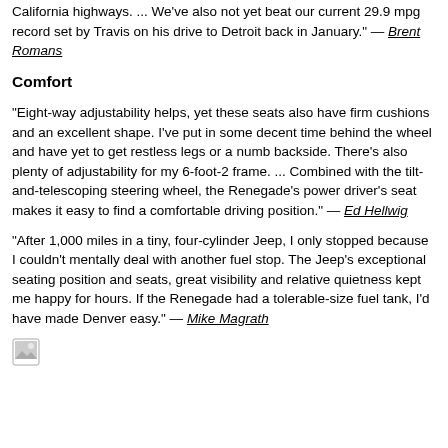California highways. ... We've also not yet beat our current 29.9 mpg record set by Travis on his drive to Detroit back in January." — Brent Romans
Comfort
"Eight-way adjustability helps, yet these seats also have firm cushions and an excellent shape. I've put in some decent time behind the wheel and have yet to get restless legs or a numb backside. There's also plenty of adjustability for my 6-foot-2 frame. ... Combined with the tilt-and-telescoping steering wheel, the Renegade's power driver's seat makes it easy to find a comfortable driving position." — Ed Hellwig
"After 1,000 miles in a tiny, four-cylinder Jeep, I only stopped because I couldn't mentally deal with another fuel stop. The Jeep's exceptional seating position and seats, great visibility and relative quietness kept me happy for hours. If the Renegade had a tolerable-size fuel tank, I'd have made Denver easy." — Mike Magrath
[Figure (photo): Small thumbnail image icon at the bottom left of the page]